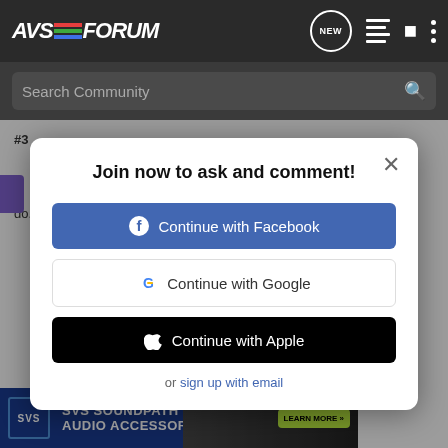[Figure (screenshot): AVS Forum website screenshot with navigation bar showing logo, search bar, and a modal dialog for joining/login]
Join now to ask and comment!
Continue with Facebook
Continue with Google
Continue with Apple
or sign up with email
do. SO its 1 button to turn everything on and 1 button to turn everythi
[Figure (screenshot): SVS SOUNDPATH AUDIO ACCESSORIES advertisement banner with LEARN MORE button]